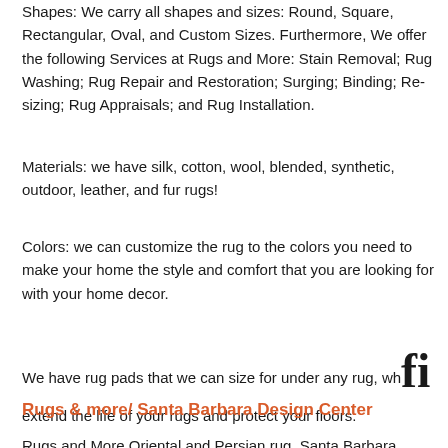Shapes: We carry all shapes and sizes: Round, Square, Rectangular, Oval, and Custom Sizes. Furthermore, We offer the following Services at Rugs and More: Stain Removal; Rug Washing; Rug Repair and Restoration; Surging; Binding; Re-sizing; Rug Appraisals; and Rug Installation.
Materials: we have silk, cotton, wool, blended, synthetic, outdoor, leather, and fur rugs!
Colors: we can customize the rug to the colors you need to make your home the style and comfort that you are looking for with your home decor.
We have rug pads that we can size for under any rug, which extend the life of your rugs and protect your floors.
Rugs & more/ Santa Barbara Design Center
Rugs and More Oriental and Persian rug. Santa Barbara